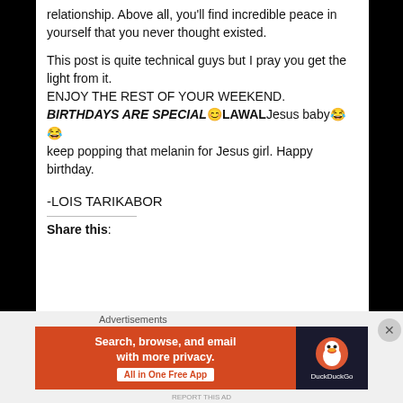relationship. Above all, you'll find incredible peace in yourself that you never thought existed.
This post is quite technical guys but I pray you get the light from it.
ENJOY THE REST OF YOUR WEEKEND.
BIRTHDAYS ARE SPECIAL 😊 LAWALJesus baby😂😂 keep popping that melanin for Jesus girl. Happy birthday.
-LOIS TARIKABOR
Share this:
[Figure (screenshot): DuckDuckGo advertisement banner: orange left side with text 'Search, browse, and email with more privacy. All in One Free App', dark right side with DuckDuckGo duck logo and brand name]
Advertisements